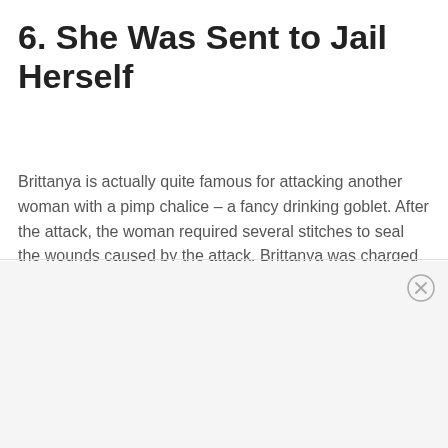6. She Was Sent to Jail Herself
Brittanya is actually quite famous for attacking another woman with a pimp chalice – a fancy drinking goblet. After the attack, the woman required several stitches to seal the wounds caused by the attack. Brittanya was charged with felony assault with a deadly weapon. After pleading guilty to the charges, she was sentenced to six months in the Ventura County Jail.